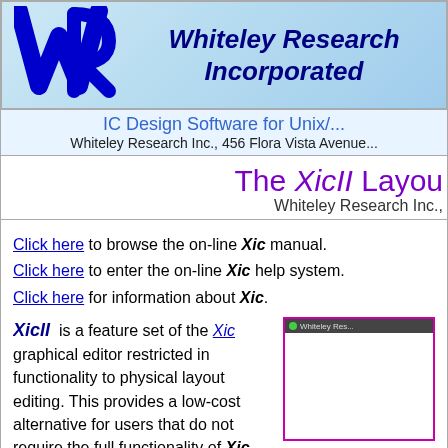[Figure (logo): Whiteley Research Incorporated logo with WR initials in blue and company name in dark blue italic bold text on light blue gradient background]
IC Design Software for Unix/... Whiteley Research Inc., 456 Flora Vista Avenue...
The XicII Layout... Whiteley Research Inc.,
Click here to browse the on-line Xic manual.
Click here to enter the on-line Xic help system.
Click here for information about Xic.
XicII is a feature set of the Xic graphical editor restricted in functionality to physical layout editing. This provides a low-cost alternative for users that do not require the full functionality of Xic.
[Figure (screenshot): Screenshot of Whiteley Research software window with magenta border]
In order to streamline support and...